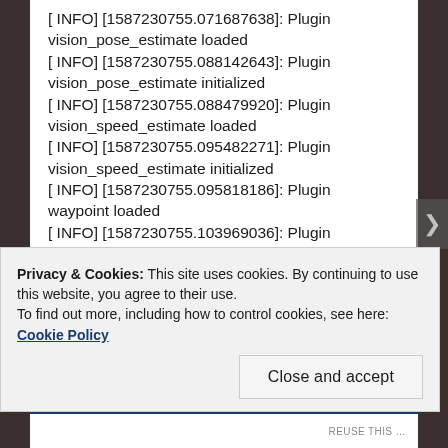[ INFO] [1587230755.071687638]: Plugin vision_pose_estimate loaded
[ INFO] [1587230755.088142643]: Plugin vision_pose_estimate initialized
[ INFO] [1587230755.088479920]: Plugin vision_speed_estimate loaded
[ INFO] [1587230755.095482271]: Plugin vision_speed_estimate initialized
[ INFO] [1587230755.095818186]: Plugin waypoint loaded
[ INFO] [1587230755.103969036]: Plugin waypoint initialized
[ INFO] [1587230755.104022401]: Plugin wheel_odometry blacklisted
[ INFO] [1587230755.104417505]: Plugin ste_odometry blacklisted
Privacy & Cookies: This site uses cookies. By continuing to use this website, you agree to their use.
To find out more, including how to control cookies, see here: Cookie Policy
Close and accept